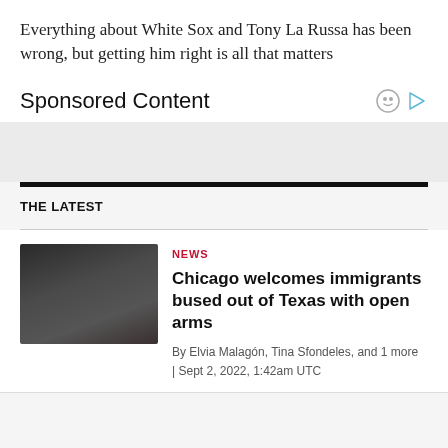Everything about White Sox and Tony La Russa has been wrong, but getting him right is all that matters
Sponsored Content
THE LATEST
[Figure (photo): Photo of people, including a child on someone's shoulders, in a dimly lit setting]
NEWS
Chicago welcomes immigrants bused out of Texas with open arms
By Elvia Malagón, Tina Sfondeles, and 1 more | Sept 2, 2022, 1:42am UTC